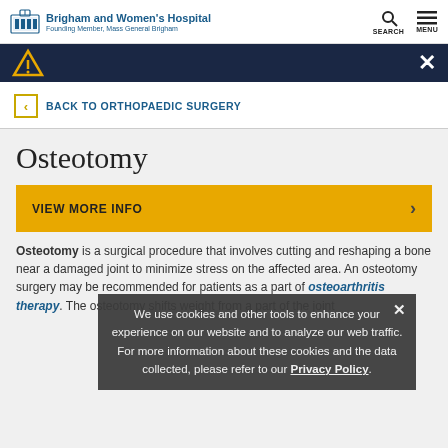Brigham and Women's Hospital — Founding Member, Mass General Brigham — SEARCH MENU
[Figure (other): Dark navy navigation banner with warning triangle icon and close X button]
< BACK TO ORTHOPAEDIC SURGERY
Osteotomy
VIEW MORE INFO >
Osteotomy is a surgical procedure that involves cutting and reshaping a bone near a damaged joint to minimize stress on the affected area. An osteotomy surgery may be recommended for patients as a part of osteoarthritis therapy. The osteotomy shifts weight from a part of the joint
We use cookies and other tools to enhance your experience on our website and to analyze our web traffic. For more information about these cookies and the data collected, please refer to our Privacy Policy.